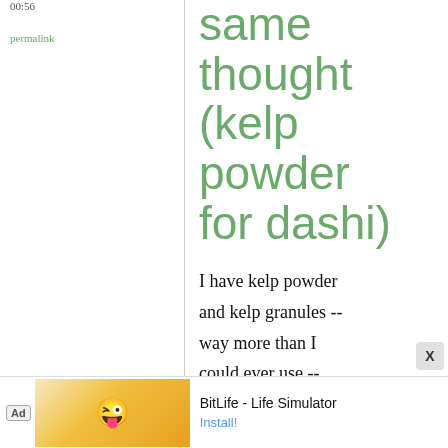00:56
permalink
same thought (kelp powder for dashi)
I have kelp powder and kelp granules -- way more than I could ever use -- and I plan to make dashi with both. What I will do is
[Figure (other): Advertisement banner for BitLife - Life Simulator app with yellow cartoon character and install button]